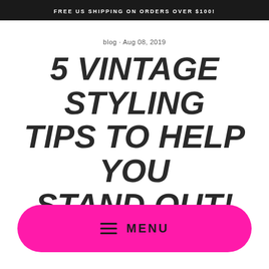FREE US SHIPPING ON ORDERS OVER $100!
blog · Aug 08, 2019
5 VINTAGE STYLING TIPS TO HELP YOU STAND OUT!
≡ MENU